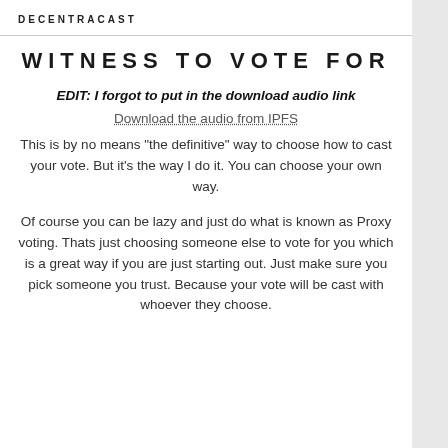DECENTRACAST
WITNESS TO VOTE FOR
EDIT: I forgot to put in the download audio link
Download the audio from IPFS
This is by no means "the definitive" way to choose how to cast your vote. But it's the way I do it. You can choose your own way.
Of course you can be lazy and just do what is known as Proxy voting. Thats just choosing someone else to vote for you which is a great way if you are just starting out. Just make sure you pick someone you trust. Because your vote will be cast with whoever they choose.